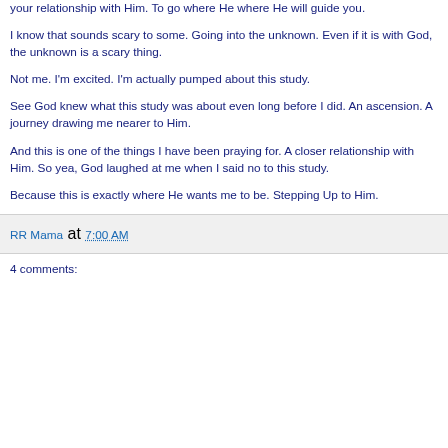your relationship with Him. To go where He where He will guide you.
I know that sounds scary to some. Going into the unknown. Even if it is with God, the unknown is a scary thing.
Not me. I'm excited. I'm actually pumped about this study.
See God knew what this study was about even long before I did. An ascension. A journey drawing me nearer to Him.
And this is one of the things I have been praying for. A closer relationship with Him. So yea, God laughed at me when I said no to this study.
Because this is exactly where He wants me to be. Stepping Up to Him.
RR Mama at 7:00 AM
4 comments: